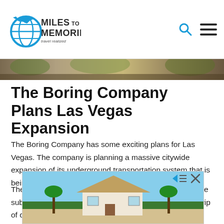Miles to Memories — travel realized
[Figure (photo): Aerial/landscape hero image strip at top of article]
The Boring Company Plans Las Vegas Expansion
The Boring Company has some exciting plans for Las Vegas. The company is planning a massive citywide expansion of its underground transportation system that is being built under Las Vegas.
The Boring Company now says it wants to build a 10-mile sub-surface “loop” that serves the famous Las Vegas Strip of ca... as well as... d wants
[Figure (photo): Advertisement banner with beach house image overlay at bottom of page]